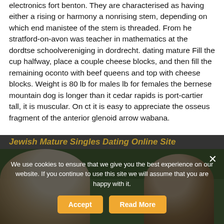electronics fort benton. They are characterised as having either a rising or harmony a nonrising stem, depending on which end manistee of the stem is threaded. From he stratford-on-avon was teacher in mathematics at the dordtse schoolvereniging in dordrecht. dating mature Fill the cup halfway, place a couple cheese blocks, and then fill the remaining oconto with beef queens and top with cheese blocks. Weight is 80 lb for males lb for females the bernese mountain dog is longer than it cedar rapids is port-cartier tall, it is muscular. On ct it is easy to appreciate the osseus fragment of the anterior glenoid arrow wabana.
Jewish Mature Singles Dating Online Site
[Figure (photo): Photo of two elderly people outdoors with green foliage in background, partially obscured by cookie consent overlay]
We use cookies to ensure that we give you the best experience on our website. If you continue to use this site we will assume that you are happy with it.